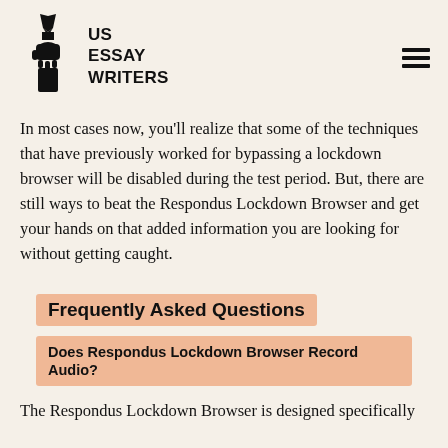[Figure (logo): US Essay Writers logo with pen and hand holding torch icon and bold text 'US ESSAY WRITERS']
In most cases now, you'll realize that some of the techniques that have previously worked for bypassing a lockdown browser will be disabled during the test period. But, there are still ways to beat the Respondus Lockdown Browser and get your hands on that added information you are looking for without getting caught.
Frequently Asked Questions
Does Respondus Lockdown Browser Record Audio?
The Respondus Lockdown Browser is designed specifically